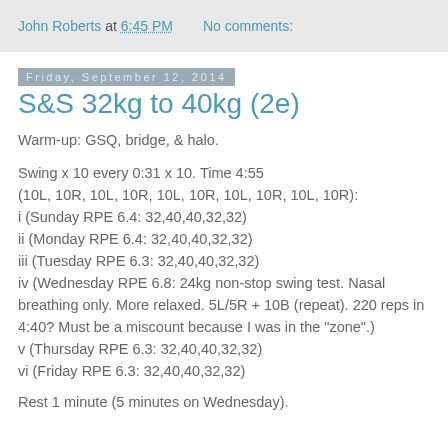John Roberts at 6:45 PM   No comments:
Friday, September 12, 2014
S&S 32kg to 40kg (2e)
Warm-up: GSQ, bridge, & halo.
Swing x 10 every 0:31 x 10. Time 4:55
(10L, 10R, 10L, 10R, 10L, 10R, 10L, 10R, 10L, 10R):
i (Sunday RPE 6.4: 32,40,40,32,32)
ii (Monday RPE 6.4: 32,40,40,32,32)
iii (Tuesday RPE 6.3: 32,40,40,32,32)
iv (Wednesday RPE 6.8: 24kg non-stop swing test. Nasal breathing only. More relaxed. 5L/5R + 10B (repeat). 220 reps in 4:40? Must be a miscount because I was in the "zone".)
v (Thursday RPE 6.3: 32,40,40,32,32)
vi (Friday RPE 6.3: 32,40,40,32,32)
Rest 1 minute (5 minutes on Wednesday).